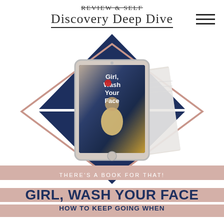Review & Self Discovery Deep Dive
[Figure (illustration): Diamond-shaped graphic with navy blue triangles at top and bottom, rose gold diamond outline in center, with a tablet displaying book cover of 'Girl, Wash Your Face' overlaid on notebooks/papers background]
THERE'S A BOOK FOR THAT!
GIRL, WASH YOUR FACE
HOW TO KEEP GOING WHEN